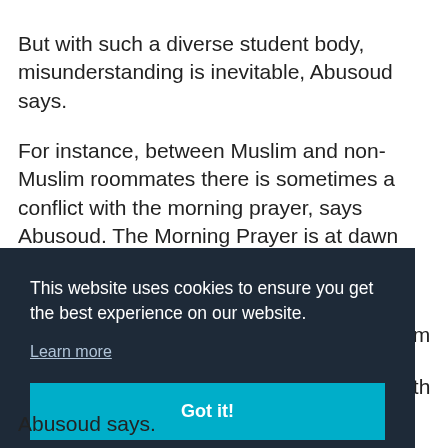But with such a diverse student body, misunderstanding is inevitable, Abusoud says.
For instance, between Muslim and non-Muslim roommates there is sometimes a conflict with the morning prayer, says Abusoud. The Morning Prayer is at dawn time. The other [text obscured] slim [text obscured] with
This website uses cookies to ensure you get the best experience on our website.
Learn more
Got it!
Abusoud says.